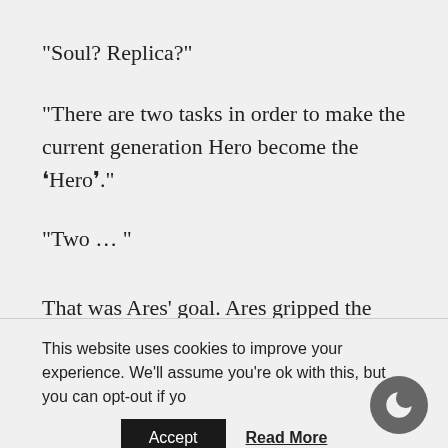“Soul? Replica?”
“There are two tasks in order to make the current generation Hero become the ‘Hero’.”
“Two … “
That was Ares’ goal. Ares gripped the handle of the Sacred Avenger.
This website uses cookies to improve your experience. We'll assume you're ok with this, but you can opt-out if yo
Accept
Read More